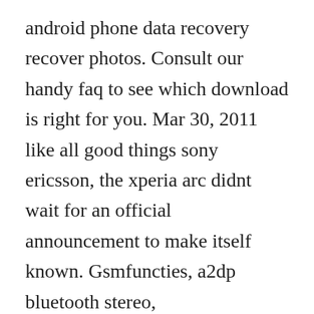android phone data recovery recover photos. Consult our handy faq to see which download is right for you. Mar 30, 2011 like all good things sony ericsson, the xperia arc didnt wait for an official announcement to make itself known. Gsmfuncties, a2dp bluetooth stereo, bewegingssensor gsensor, dlna, fmradio. View and download sony ericsson f305 user manual online. It s possible to update the information on acr call recorder or report it as discontinued, duplicated or spam. We tested this on samsungs galaxy note 8 which shows it and so on in the below. As one chat